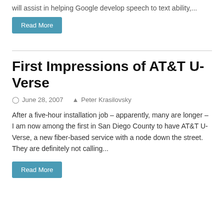will assist in helping Google develop speech to text ability,...
Read More
First Impressions of AT&T U-Verse
June 28, 2007   Peter Krasilovsky
After a five-hour installation job – apparently, many are longer – I am now among the first in San Diego County to have AT&T U-Verse, a new fiber-based service with a node down the street. They are definitely not calling...
Read More